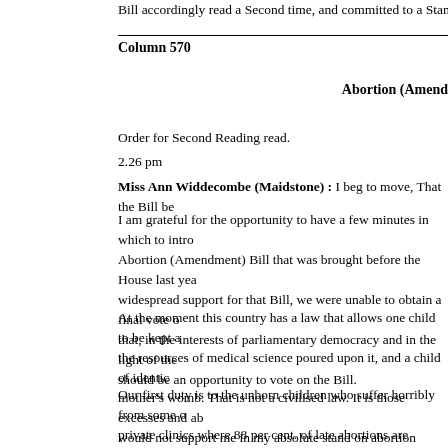Bill accordingly read a Second time, and committed to a Standing Co…
Column 570
Abortion (Amend…
Order for Second Reading read.
2.26 pm
Miss Ann Widdecombe (Maidstone) : I beg to move, That the Bill be…
I am grateful for the opportunity to have a few minutes in which to intro… Abortion (Amendment) Bill that was brought before the House last yea… widespread support for that Bill, we were unable to obtain a final vote … that, in the interests of parliamentary democracy and in the light of the… should be an opportunity to vote on the Bill.
At the moment this country has a law that allows one child to be kept a… the resources of medical science poured upon it, and a child of identic… mother’s womb. That is not a civilised law. It is those excesses and ab… would not support me in my absolute stand on abortion nevertheless w…
Our first duty is to the unborn children who suffer horribly from some o… private clinics where 88 per cent. of late abortions are carried out. We… exactly the same protection as we afford to children of the same age w… born, and the same protection that we afford to children regardless of …
The unborn have no less right to protection than the born. The unborn… recognise them as fully human, with full civil rights, should have exactl… incubator we should not do to a child in the womb during abortion. Ou…